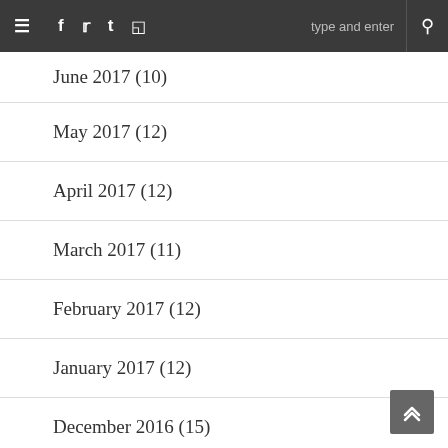≡ f t t ☷  type and enter 🔍
June 2017 (10)
May 2017 (12)
April 2017 (12)
March 2017 (11)
February 2017 (12)
January 2017 (12)
December 2016 (15)
November 2016 (16)
October 2016 (23)